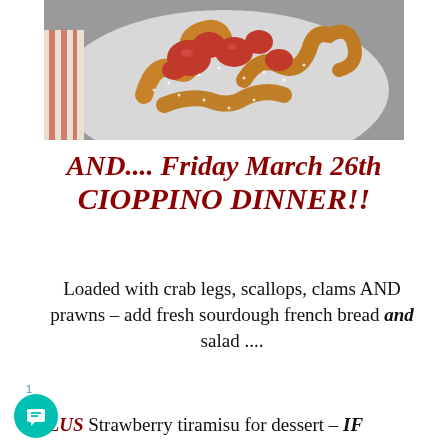[Figure (photo): A plate of fried pastry cookies dusted with powdered sugar and topped with red strawberry jam/sauce, photographed on a gray surface with a striped cloth visible on the left.]
AND.... Friday March 26th CIOPPINO DINNER!!
Loaded with crab legs, scallops, clams AND prawns – add fresh sourdough french bread and salad ....
PLUS Strawberry tiramisu for dessert – IF